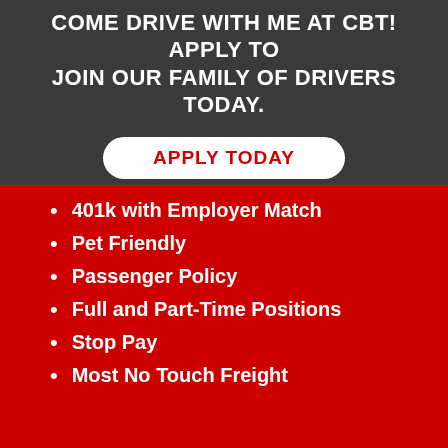COME DRIVE WITH ME AT CBT! APPLY TO JOIN OUR FAMILY OF DRIVERS TODAY.
APPLY TODAY
401k with Employer Match
Pet Friendly
Passenger Policy
Full and Part-Time Positions
Stop Pay
Most No Touch Freight